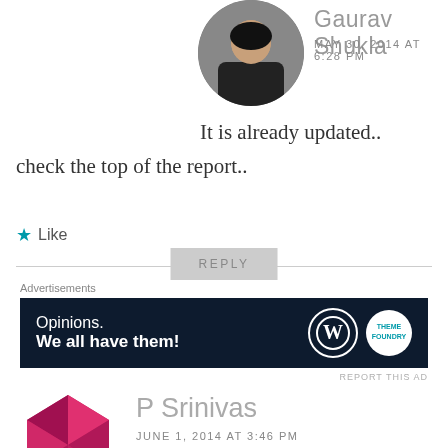[Figure (photo): Circular avatar photo of Gaurav Shukla, a man in dark shirt]
Gaurav Shukla
MAY 30, 2014 AT 6:28 PM
It is already updated.. check the top of the report..
Like
REPLY
Advertisements
[Figure (other): WordPress advertisement banner with text 'Opinions. We all have them!' on dark navy background with WordPress and Theme logos]
REPORT THIS AD
[Figure (illustration): Circular geometric/diamond pattern avatar in crimson/dark pink for P Srinivas]
P Srinivas
JUNE 1, 2014 AT 3:46 PM